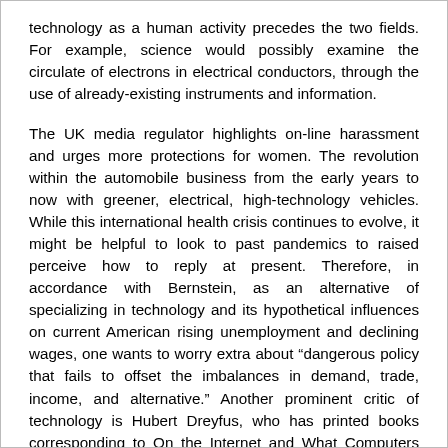technology as a human activity precedes the two fields. For example, science would possibly examine the circulate of electrons in electrical conductors, through the use of already-existing instruments and information.
The UK media regulator highlights on-line harassment and urges more protections for women. The revolution within the automobile business from the early years to now with greener, electrical, high-technology vehicles. While this international health crisis continues to evolve, it might be helpful to look to past pandemics to raised perceive how to reply at present. Therefore, in accordance with Bernstein, as an alternative of specializing in technology and its hypothetical influences on current American rising unemployment and declining wages, one wants to worry extra about “dangerous policy that fails to offset the imbalances in demand, trade, income, and alternative.” Another prominent critic of technology is Hubert Dreyfus, who has printed books corresponding to On the Internet and What Computers Still Can’t Do. In physics, the invention of nuclear fission has led to both nuclear